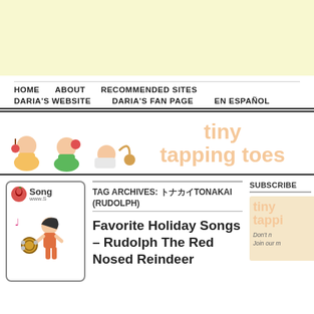[Figure (other): Yellow/cream colored advertisement banner area at top of page]
HOME   ABOUT   RECOMMENDED SITES   DARIA'S WEBSITE   DARIA'S FAN PAGE   EN ESPAÑOL
[Figure (illustration): Tiny Tapping Toes site header with three babies playing instruments on left and 'tiny tapping toes' text on right in peach/salmon color]
[Figure (illustration): Song widget box with apple logo and cartoon girl playing tambourine]
TAG ARCHIVES: トナカイTONAKAI (RUDOLPH)
Favorite Holiday Songs – Rudolph The Red Nosed Reindeer
SUBSCRIBE
[Figure (illustration): Tiny tapping toes mini sidebar banner in peach color with italic text 'Don't n Join our m']